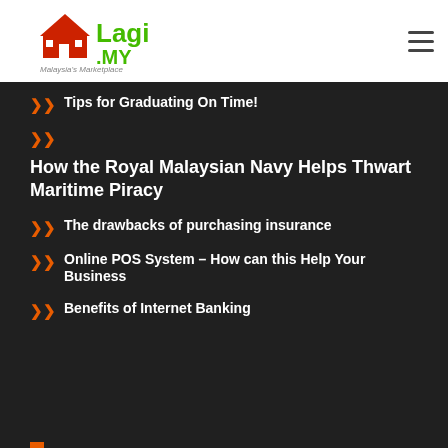Lagi.MY — Malaysia's Marketplace
Tips for Graduating On Time!
How the Royal Malaysian Navy Helps Thwart Maritime Piracy
The drawbacks of purchasing insurance
Online POS System – How can this Help Your Business
Benefits of Internet Banking